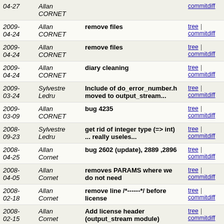| Date | Author | Message | Links |
| --- | --- | --- | --- |
| 2009-04-27 | Allan CORNET |  | tree | commitdiff |
| 2009-04-24 | Allan CORNET | remove files | tree | commitdiff |
| 2009-04-24 | Allan CORNET | remove files | tree | commitdiff |
| 2009-04-24 | Allan CORNET | diary cleaning | tree | commitdiff |
| 2009-03-24 | Sylvestre Ledru | Include of do_error_number.h moved to output_stream... | tree | commitdiff |
| 2009-03-09 | Allan CORNET | bug 4235 | tree | commitdiff |
| 2008-09-23 | Sylvestre Ledru | get rid of integer type (=> int) ... really useles... | tree | commitdiff |
| 2008-04-25 | Allan Cornet | bug 2602 (update), 2889 ,2896 | tree | commitdiff |
| 2008-04-05 | Allan Cornet | removes PARAMS where we do not need | tree | commitdiff |
| 2008-02-18 | Allan Cornet | remove line /*------*/ before license | tree | commitdiff |
| 2008-02-15 | Allan Cornet | Add license header (output_stream module) | tree | commitdiff |
| 2007-11-23 | Sylvestre Ledru | msgc.* and msgstxt.h moved to a better place ... output... | tree | commitdiff |
| 2007-11-23 | Sylvestre Ledru | Comment line goes on 80 chars only | tree | commitdiff |
| 2007-11-15 | Pierre Marechal | Set svn:eol-style to native | tree | commitdiff |